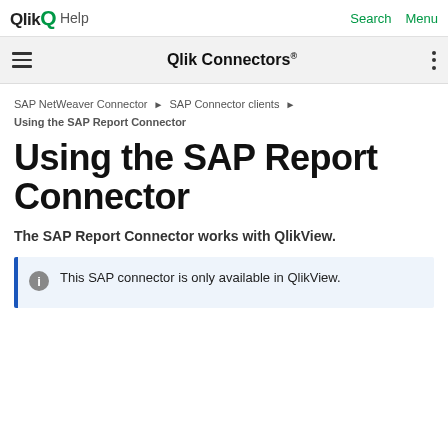Qlik Help — Search  Menu
Qlik Connectors®
SAP NetWeaver Connector ▶ SAP Connector clients ▶
Using the SAP Report Connector
Using the SAP Report Connector
The SAP Report Connector works with QlikView.
This SAP connector is only available in QlikView.